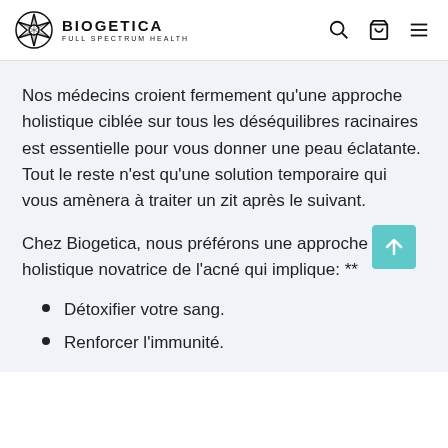BIOGETICA FULL SPECTRUM HEALTH
Nos médecins croient fermement qu'une approche holistique ciblée sur tous les déséquilibres racinaires est essentielle pour vous donner une peau éclatante. Tout le reste n'est qu'une solution temporaire qui vous amènera à traiter un zit après le suivant.
Chez Biogetica, nous préférons une approche holistique novatrice de l'acné qui implique: **
Détoxifier votre sang.
Renforcer l'immunité.